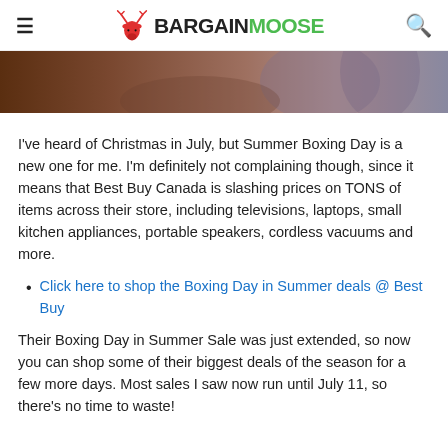BARGAINMOOSE
[Figure (photo): Partial photo of a person, cropped at the top of the page, warm brown tones]
I've heard of Christmas in July, but Summer Boxing Day is a new one for me. I'm definitely not complaining though, since it means that Best Buy Canada is slashing prices on TONS of items across their store, including televisions, laptops, small kitchen appliances, portable speakers, cordless vacuums and more.
Click here to shop the Boxing Day in Summer deals @ Best Buy
Their Boxing Day in Summer Sale was just extended, so now you can shop some of their biggest deals of the season for a few more days. Most sales I saw now run until July 11, so there's no time to waste!